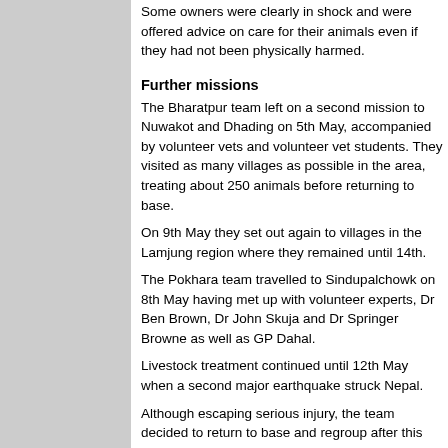Some owners were clearly in shock and were offered advice on care for their animals even if they had not been physically harmed.
Further missions
The Bharatpur team left on a second mission to Nuwakot and Dhading on 5th May, accompanied by volunteer vets and volunteer vet students. They visited as many villages as possible in the area, treating about 250 animals before returning to base.
On 9th May they set out again to villages in the Lamjung region where they remained until 14th.
The Pokhara team travelled to Sindupalchowk on 8th May having met up with volunteer experts, Dr Ben Brown, Dr John Skuja and Dr Springer Browne as well as GP Dahal.
Livestock treatment continued until 12th May when a second major earthquake struck Nepal.
Although escaping serious injury, the team decided to return to base and regroup after this added blow.
Continuity